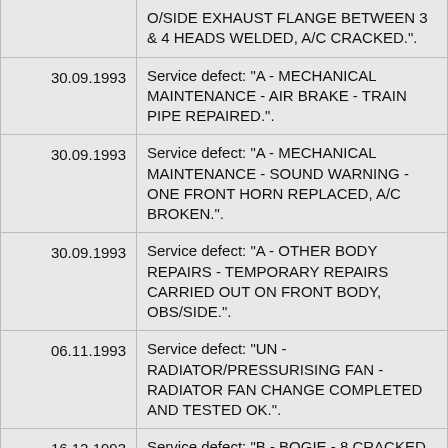| Date | Description |
| --- | --- |
|  | O/SIDE EXHAUST FLANGE BETWEEN 3 & 4 HEADS WELDED, A/C CRACKED.". |
| 30.09.1993 | Service defect: "A - MECHANICAL MAINTENANCE - AIR BRAKE - TRAIN PIPE REPAIRED.". |
| 30.09.1993 | Service defect: "A - MECHANICAL MAINTENANCE - SOUND WARNING - ONE FRONT HORN REPLACED, A/C BROKEN.". |
| 30.09.1993 | Service defect: "A - OTHER BODY REPAIRS - TEMPORARY REPAIRS CARRIED OUT ON FRONT BODY, OBS/SIDE.". |
| 06.11.1993 | Service defect: "UN - RADIATOR/PRESSURISING FAN - RADIATOR FAN CHANGE COMPLETED AND TESTED OK.". |
| 16.12.1993 | Service defect: "B - BOGIE - 8 CRACKED PEDESTAL LINERS RE... |